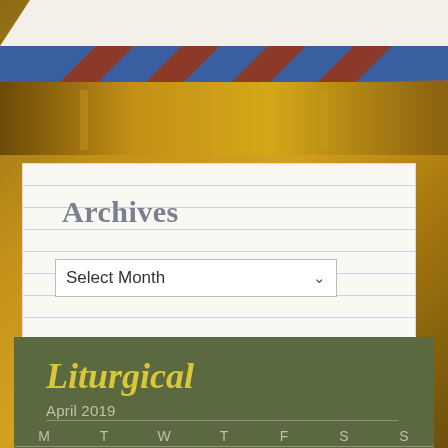[Figure (photo): Website screenshot showing a clapperboard/film slate at the top with diagonal blue and brown/red stripes, over a golden/amber church interior background photo]
Archives
Select Month (dropdown)
Liturgical
April 2019
| M | T | W | T | F | S | S |
| --- | --- | --- | --- | --- | --- | --- |
| (1) | (2) | (3) | (4) | (5) | (6) | (7) |